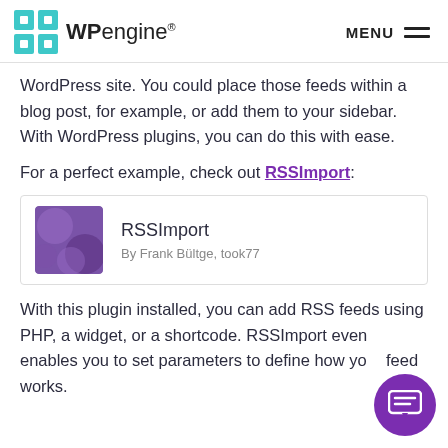WPengine® MENU
WordPress site. You could place those feeds within a blog post, for example, or add them to your sidebar. With WordPress plugins, you can do this with ease.
For a perfect example, check out RSSImport:
[Figure (other): RSSImport plugin card showing purple plugin icon, title 'RSSImport', and author 'By Frank Bültge, took77']
With this plugin installed, you can add RSS feeds using PHP, a widget, or a shortcode. RSSImport even enables you to set parameters to define how your feed works.